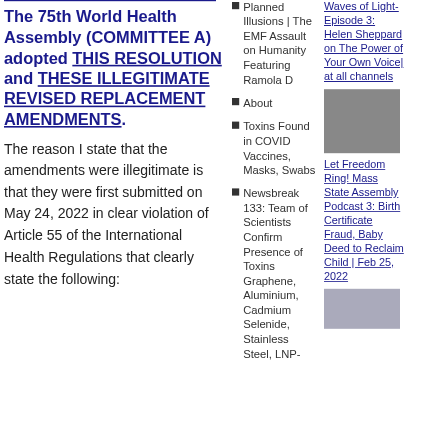The 75th World Health Assembly (COMMITTEE A) adopted THIS RESOLUTION and THESE ILLEGITIMATE REVISED REPLACEMENT AMENDMENTS.
The reason I state that the amendments were illegitimate is that they were first submitted on May 24, 2022 in clear violation of Article 55 of the International Health Regulations that clearly state the following:
Planned Illusions | The EMF Assault on Humanity Featuring Ramola D
About
Toxins Found in COVID Vaccines, Masks, Swabs
Newsbreak 133: Team of Scientists Confirm Presence of Toxins Graphene, Aluminium, Cadmium Selenide, Stainless Steel, LNP-
Waves of Light-Episode 3: Helen Sheppard on The Power of Your Own Voice| at all channels
[Figure (photo): Photo thumbnail of two people]
Let Freedom Ring! Mass State Assembly Podcast 3: Birth Certificate Fraud, Baby Deed to Reclaim Child | Feb 25, 2022
[Figure (photo): Photo thumbnail with flag imagery]